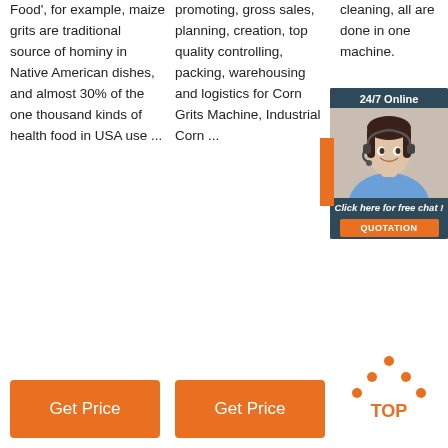Food', for example, maize grits are traditional source of hominy in Native American dishes, and almost 30% of the one thousand kinds of health food in USA use ...
promoting, gross sales, planning, creation, top quality controlling, packing, warehousing and logistics for Corn Grits Machine, Industrial Corn ...
cleaning, all are done in one machine.
[Figure (photo): Advertisement box with a customer service representative wearing a headset, dark teal background with '24/7 Online' header, 'Click here for free chat!' text, and orange QUOTATION button]
[Figure (other): Orange dotted triangle 'TOP' navigation button]
Get Price
Get Price